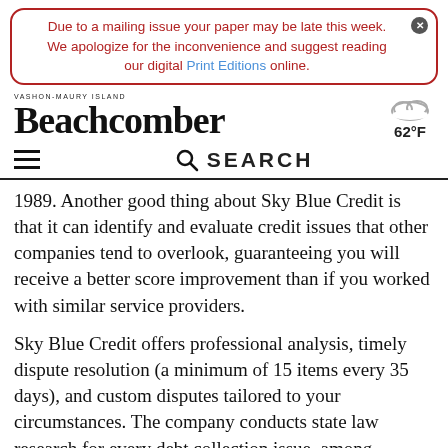Due to a mailing issue your paper may be late this week. We apologize for the inconvenience and suggest reading our digital Print Editions online.
VASHON-MAURY ISLAND BEACHCOMBER  62°F
SEARCH
1989. Another good thing about Sky Blue Credit is that it can identify and evaluate credit issues that other companies tend to overlook, guaranteeing you will receive a better score improvement than if you worked with similar service providers.
Sky Blue Credit offers professional analysis, timely dispute resolution (a minimum of 15 items every 35 days), and custom disputes tailored to your circumstances. The company conducts state la… research for every debt collection issue, among other…Sky Blue Credit is one of our…